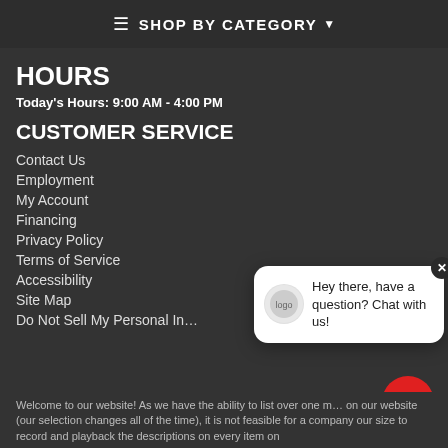≡ SHOP BY CATEGORY ▾
HOURS
Today's Hours: 9:00 AM - 4:00 PM
CUSTOMER SERVICE
Contact Us
Employment
My Account
Financing
Privacy Policy
Terms of Service
Accessibility
Site Map
Do Not Sell My Personal In…
[Figure (screenshot): Chat popup bubble with avatar and text: Hey there, have a question? Chat with us!]
Welcome to our website! As we have the ability to list over one m… on our website (our selection changes all of the time), it is not feasible for a company our size to record and playback the descriptions on every item on